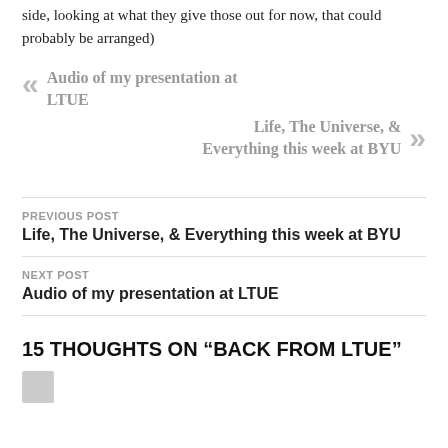side, looking at what they give those out for now, that could probably be arranged)
« Audio of my presentation at LTUE
Life, The Universe, & Everything this week at BYU »
PREVIOUS POST
Life, The Universe, & Everything this week at BYU
NEXT POST
Audio of my presentation at LTUE
15 THOUGHTS ON “BACK FROM LTUE”